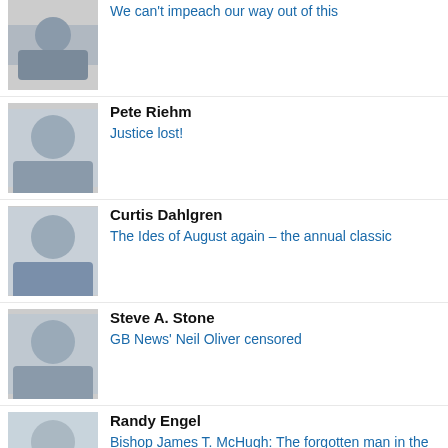We can't impeach our way out of this
Pete Riehm
Justice lost!
Curtis Dahlgren
The Ides of August again – the annual classic
Steve A. Stone
GB News' Neil Oliver censored
Randy Engel
Bishop James T. McHugh: The forgotten man in the McCarrick equation (Part 3)
Peter Lemiska
There is only one way to correct our course
Rev. Mark H. Creech
Revelation Chapter 2: The Church that was crushed and beaten, but had a fragrant testimony
Michael Gaynor
Mar-a-Lago raid shows Trump derangement